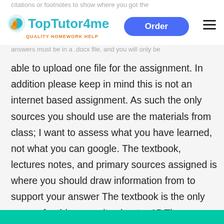citations or footnotes to show where you got the
[Figure (logo): TopTutor4me logo with orange/teal swirl icon, teal bold text, orange tagline 'QUALITY HOMEWORK HELP', blue Order button, hamburger menu]
answers must be in a .docx file, and you will only be able to upload one file for the assignment. In addition please keep in mind this is not an internet based assignment. As such the only sources you should use are the materials from class; I want to assess what you have learned, not what you can google. The textbook, lectures notes, and primary sources assigned is where you should draw information from to support your answer The textbook is the only source for this essay its chapter 15 The American Yawp either google “chapter 15 the American yawp” or use this link americanyawp.com/text/15-reconstruction/